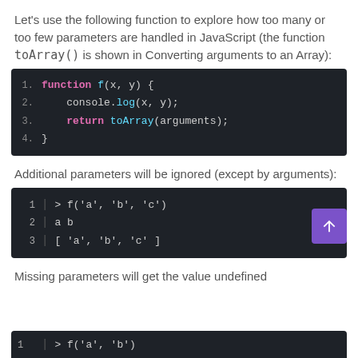Let's use the following function to explore how too many or too few parameters are handled in JavaScript (the function toArray() is shown in Converting arguments to an Array):
[Figure (screenshot): Code block showing: function f(x, y) { console.log(x, y); return toArray(arguments); }]
Additional parameters will be ignored (except by arguments):
[Figure (screenshot): REPL output: > f('a', 'b', 'c'), a b, [ 'a', 'b', 'c' ]]
Missing parameters will get the value undefined